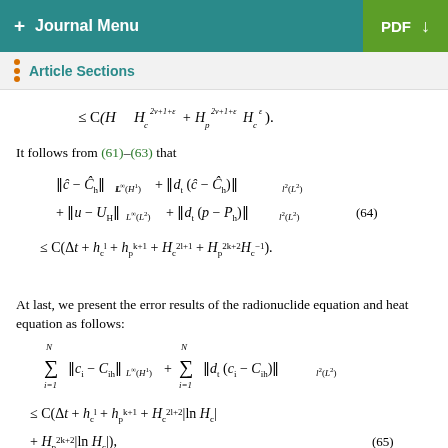+ Journal Menu | PDF
Article Sections
It follows from (61)–(63) that
At last, we present the error results of the radionuclide equation and heat equation as follows: